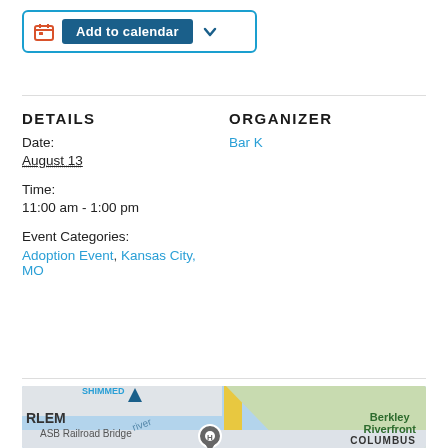[Figure (other): Add to calendar button with calendar icon and dropdown chevron]
DETAILS
Date:
August 13
Time:
11:00 am - 1:00 pm
Event Categories:
Adoption Event, Kansas City, MO
ORGANIZER
Bar K
[Figure (map): Google Map showing ASB Railroad Bridge area with Berkley Riverfront, Kansas City MO. Yellow road visible, blue river, green park areas.]